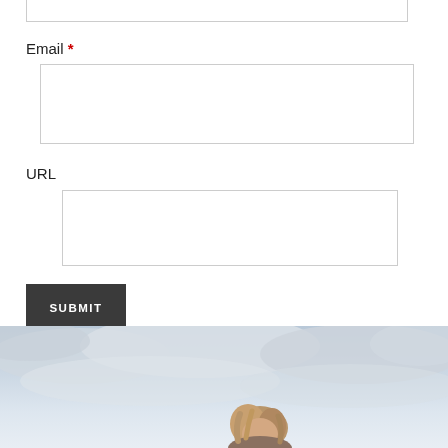Email *
URL
SUBMIT
[Figure (photo): Partial photo at bottom of page showing a person with wavy/curly hair against a cloudy sky background]